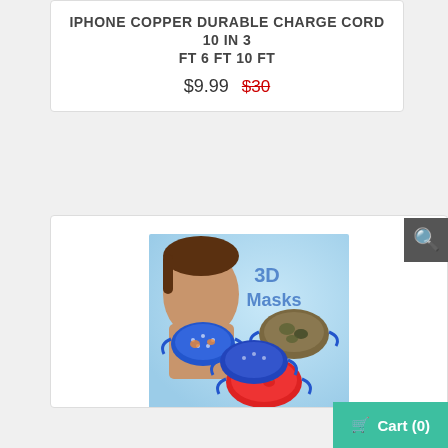IPHONE COPPER DURABLE CHARGE CORD 10 IN 3 FT 6 FT 10 FT
$9.99  $30
[Figure (photo): Product image showing 3D Masks for children with colorful patterns including blue with cartoon prints, camouflage, and red with animal prints. A child wearing one of the blue masks is shown on the left.]
PROTECTION COVER NON WOVEN
$55  $90